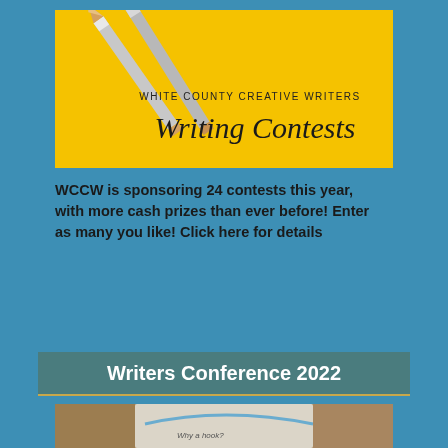[Figure (illustration): Yellow background with two pencils and text 'WHITE COUNTY CREATIVE WRITERS Writing Contests' in script font]
WCCW is sponsoring 24 contests this year, with more cash prizes than ever before! Enter as many you like! Click here for details
Writers Conference 2022
[Figure (photo): Bottom portion of a photo showing a book or paper with text 'Why a hook?']